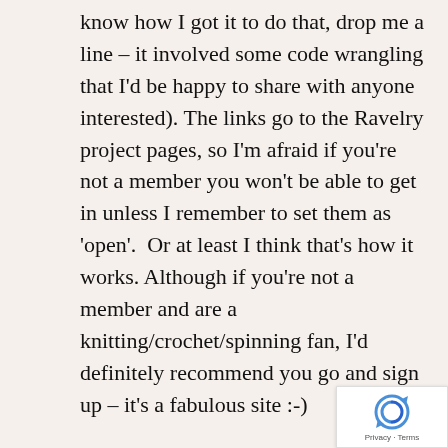know how I got it to do that, drop me a line – it involved some code wrangling that I'd be happy to share with anyone interested). The links go to the Ravelry project pages, so I'm afraid if you're not a member you won't be able to get in unless I remember to set them as 'open'. Or at least I think that's how it works. Although if you're not a member and are a knitting/crochet/spinning fan, I'd definitely recommend you go and sign up – it's a fabulous site :-)
Anyway, I thought I'd do a round-up (with pictures) of my current lot of WIPs and UFOs. And project details for those I haven't mentioned on here before.
[Figure (logo): reCAPTCHA badge with circular arrow logo and Privacy · Terms text]